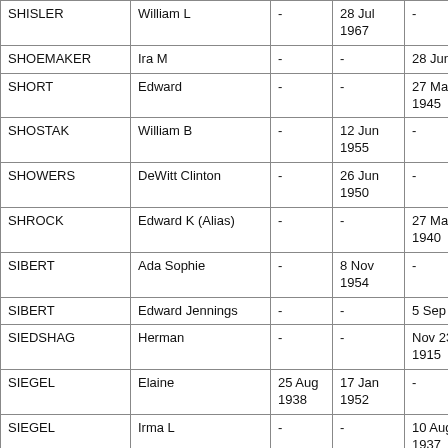| SHISLER | William L | - | 28 Jul 1967 | - |
| SHOEMAKER | Ira M | - | - | 28 Jun 1966 |
| SHORT | Edward | - | - | 27 May 1945 |
| SHOSTAK | William B | - | 12 Jun 1955 | - |
| SHOWERS | DeWitt Clinton | - | 26 Jun 1950 | - |
| SHROCK | Edward K (Alias) | - | - | 27 May 1940 |
| SIBERT | Ada Sophie | - | 8 Nov 1954 | - |
| SIBERT | Edward Jennings | - | - | 5 Sep 1958 |
| SIEDSHAG | Herman | - | - | Nov 23 1915 |
| SIEGEL | Elaine | 25 Aug 1938 | 17 Jan 1952 | - |
| SIEGEL | Irma L | - | - | 10 Aug 1937 |
| SIEMERS | Hiling | 7 May 1883 | 3 Oct 1952 | - |
| SIGNOBILE | Cunee | 29 Jul | 3 Jul 1940 |  |